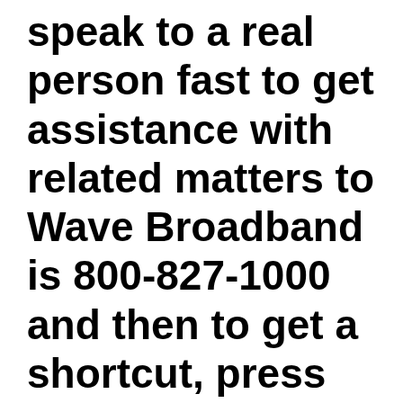speak to a real person fast to get assistance with related matters to Wave Broadband is 800-827-1000 and then to get a shortcut, press 1,0.